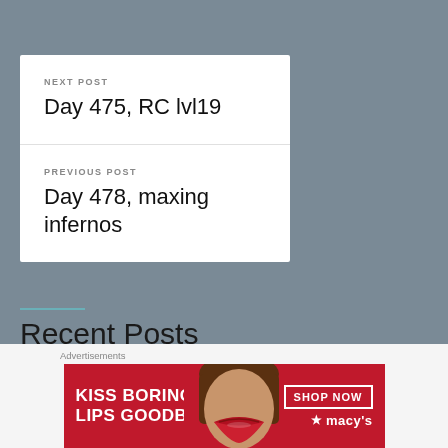NEXT POST
Day 475, RC lvl19
PREVIOUS POST
Day 478, maxing infernos
Recent Posts
Advertisements
[Figure (photo): Macy's advertisement banner: 'KISS BORING LIPS GOODBYE' with a photo of a woman's face/lips and a 'SHOP NOW' button and Macy's star logo]